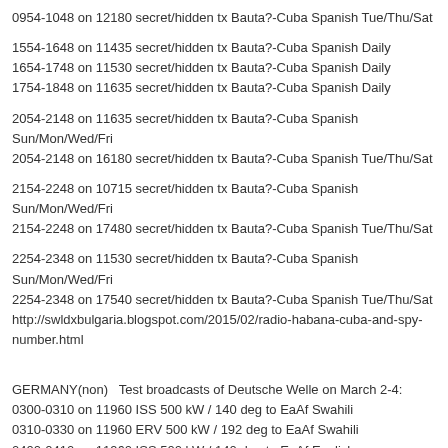0954-1048 on 12180 secret/hidden tx Bauta?-Cuba Spanish Tue/Thu/Sat
1554-1648 on 11435 secret/hidden tx Bauta?-Cuba Spanish Daily
1654-1748 on 11530 secret/hidden tx Bauta?-Cuba Spanish Daily
1754-1848 on 11635 secret/hidden tx Bauta?-Cuba Spanish Daily
2054-2148 on 11635 secret/hidden tx Bauta?-Cuba Spanish Sun/Mon/Wed/Fri
2054-2148 on 16180 secret/hidden tx Bauta?-Cuba Spanish Tue/Thu/Sat
2154-2248 on 10715 secret/hidden tx Bauta?-Cuba Spanish Sun/Mon/Wed/Fri
2154-2248 on 17480 secret/hidden tx Bauta?-Cuba Spanish Tue/Thu/Sat
2254-2348 on 11530 secret/hidden tx Bauta?-Cuba Spanish Sun/Mon/Wed/Fri
2254-2348 on 17540 secret/hidden tx Bauta?-Cuba Spanish Tue/Thu/Sat
http://swldxbulgaria.blogspot.com/2015/02/radio-habana-cuba-and-spy-number.html
GERMANY(non)   Test broadcasts of Deutsche Welle on March 2-4:
0300-0310 on 11960 ISS 500 kW / 140 deg to EaAf Swahili
0310-0330 on 11960 ERV 500 kW / 192 deg to EaAf Swahili
0400-0410 on 11960 ISS 500 kW / 140 deg to EaAf English
0415-0430 on 13610 ISS 500 kW / 140 deg to EaAf English